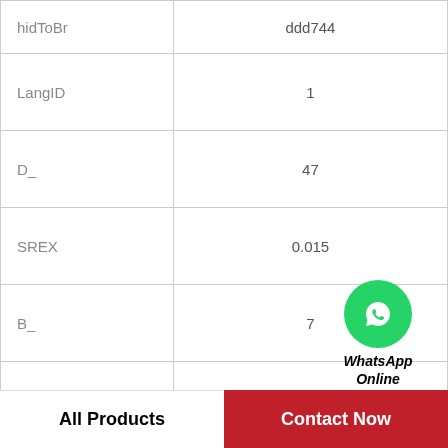| Field | Value |
| --- | --- |
| hidToBr | ddd744 |
| LangID | 1 |
| D_ | 47 |
| SREX | 0.015 |
| B_ | 7 |
| da min | 37 |
| hidTable | ecat_NSRDGB |
| SRE | 1.81 |
| mass | 0.027 |
[Figure (logo): WhatsApp Online logo with green circle and phone icon, text 'WhatsApp Online' in italic bold]
All Products   Contact Now